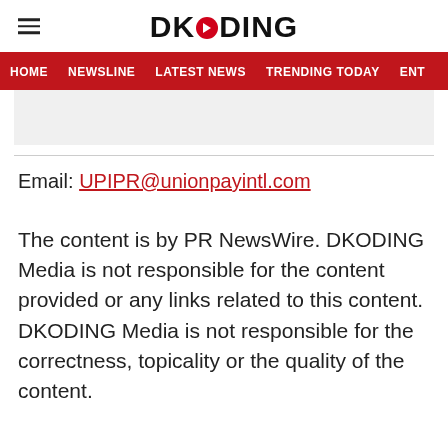DKODING
HOME   NEWSLINE   LATEST NEWS   TRENDING TODAY   ENT
Email: UPIPR@unionpayintl.com
The content is by PR NewsWire. DKODING Media is not responsible for the content provided or any links related to this content. DKODING Media is not responsible for the correctness, topicality or the quality of the content.